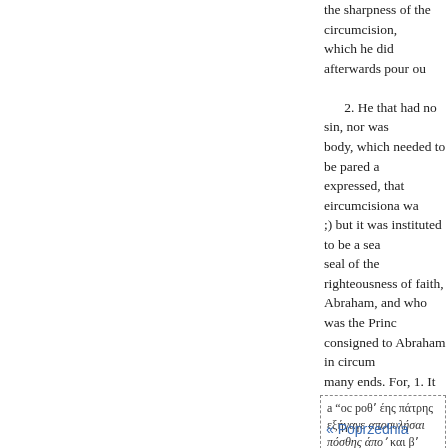the sharpness of the circumcision, which he did afterwards pour ou...
2. He that had no sin, nor was body, which needed to be pared a expressed, that eircumcisiona wa ;) but it was instituted to be a sea seal of the righteousness of faith, Abraham, and who was the Princ consigned to Abraham in circum many ends. For, 1. It gave demor And took from himself the scand against his entertainment and co be the Saviour of the world ; whi the blood of circumcision : for " name was called Jesus."
3. But this holy family, who ha permitted an address to the temp that he, who had no
a “oc poθʼ έης πάτρης εξήγαγε αποσυλήσαι πόσθης άποʼ και βʼ
« Poprzednia